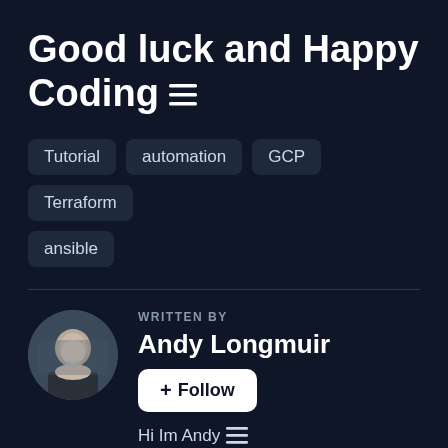Good luck and Happy Coding ≡
Tutorial   automation   GCP   Terraform   ansible
WRITTEN BY
Andy Longmuir
+ Follow
Hi Im Andy ≡